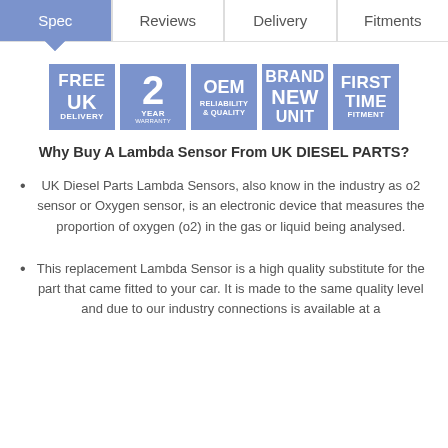Spec | Reviews | Delivery | Fitments
[Figure (infographic): Five blue badge icons: FREE UK DELIVERY, 2 YEAR WARRANTY, OEM RELIABILITY & QUALITY, BRAND NEW UNIT, FIRST TIME FITMENT]
Why Buy A Lambda Sensor From UK DIESEL PARTS?
UK Diesel Parts Lambda Sensors, also know in the industry as o2 sensor or Oxygen sensor, is an electronic device that measures the proportion of oxygen (o2) in the gas or liquid being analysed.
This replacement Lambda Sensor is a high quality substitute for the part that came fitted to your car. It is made to the same quality level and due to our industry connections is available at a